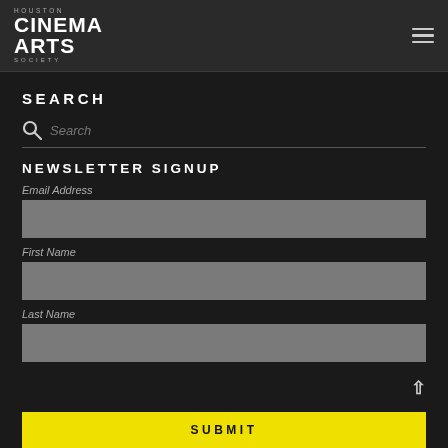[Figure (logo): Houston Cinema Arts Society logo in white text on dark background]
SEARCH
Search
NEWSLETTER SIGNUP
Email Address
First Name
Last Name
SUBMIT